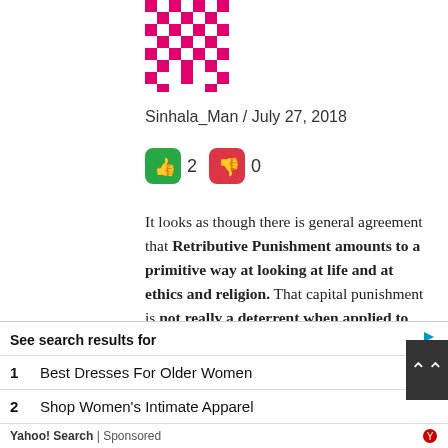[Figure (logo): Pink/magenta pixelated mosaic pattern logo]
Sinhala_Man / July 27, 2018
[Figure (infographic): Green thumbs-up button with count 2, red thumbs-down button with count 0]
It looks as though there is general agreement that Retributive Punishment amounts to a primitive way at looking at life and at ethics and religion. That capital punishment is not really a deterrent when applied to what we considered normal life, and normal crimes is also well documented. Spectacular executions harden the hearts of all citizens,
[Figure (other): Black X close button]
See search results for
1   Best Dresses For Older Women
2   Shop Women's Intimate Apparel
Yahoo! Search | Sponsored